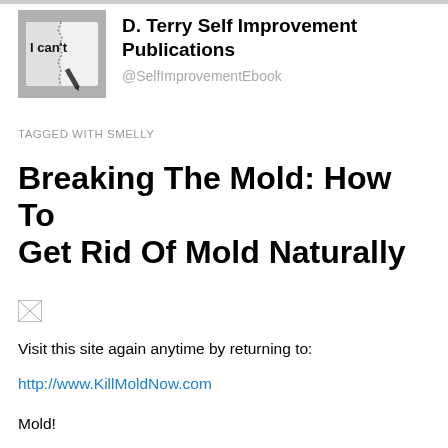[Figure (photo): Profile image showing a torn piece of paper with text 'I can't' partially ripped, with a pen nearby, in black and white style]
D. Terry Self Improvement Publications
@SelfImprovementEbook
TAGGED WITH SMELLY
Breaking The Mold: How To Get Rid Of Mold Naturally
[Figure (photo): Broken/missing image placeholder]
Visit this site again anytime by returning to:
http://www.KillMoldNow.com
Mold!